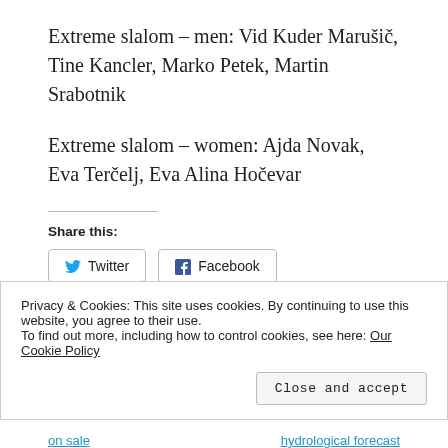Extreme slalom – men: Vid Kuder Marušič, Tine Kancler, Marko Petek, Martin Srabotnik
Extreme slalom – women: Ajda Novak, Eva Terčelj, Eva Alina Hočevar
Share this:
Twitter
Facebook
Všeč mi je
Privacy & Cookies: This site uses cookies. By continuing to use this website, you agree to their use.
To find out more, including how to control cookies, see here: Our Cookie Policy
Close and accept
on sale    hydrological forecast